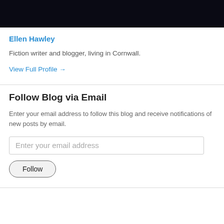[Figure (photo): Dark/black background photo strip at top of page, partially cropped]
Ellen Hawley
Fiction writer and blogger, living in Cornwall.
View Full Profile →
Follow Blog via Email
Enter your email address to follow this blog and receive notifications of new posts by email.